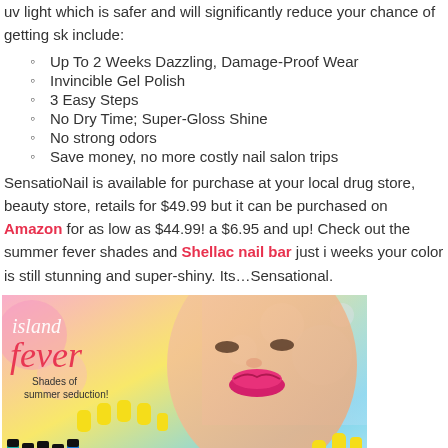uv light which is safer and will significantly reduce your chance of getting sk... include:
Up To 2 Weeks Dazzling, Damage-Proof Wear
Invincible Gel Polish
3 Easy Steps
No Dry Time; Super-Gloss Shine
No strong odors
Save money, no more costly nail salon trips
SensatioNail is available for purchase at your local drug store, beauty store, retails for $49.99 but it can be purchased on Amazon for as low as $44.99! a $6.95 and up! Check out the summer fever shades and Shellac nail bar just i weeks your color is still stunning and super-shiny. Its…Sensational.
[Figure (photo): Island Fever nail polish advertisement showing a woman with bright yellow nails and pink lips, with colorful nail polish bottles and text reading 'island fever - Shades of summer seduction!']